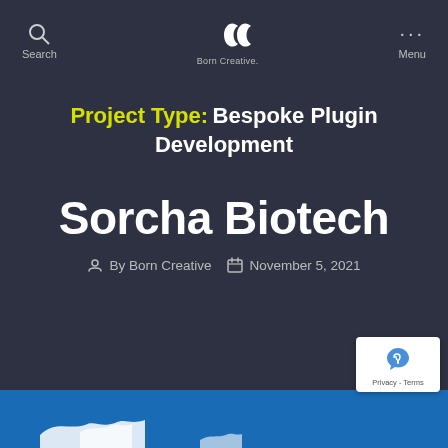Search | Born Creative. | Menu
Project Type: Bespoke Plugin Development
Sorcha Biotech
By Born Creative   November 5, 2021
[Figure (screenshot): Blue banner strip at bottom of page with map/geographic illustration in white]
[Figure (logo): reCAPTCHA badge with Privacy - Terms text]